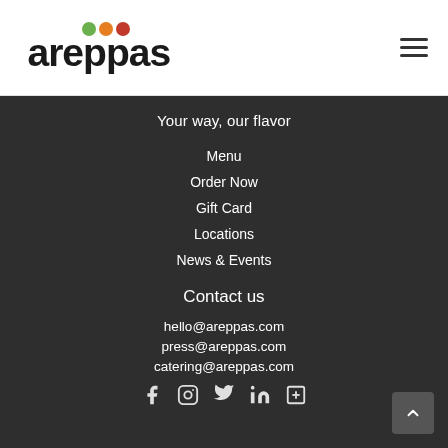[Figure (logo): Areppas logo — stylized lowercase 'areppas' text with colored circles above the double-p letters (green, orange, pink), dark text on white background]
Your way, our flavor
Menu
Order Now
Gift Card
Locations
News & Events
Contact us
hello@areppas.com
press@areppas.com
catering@areppas.com